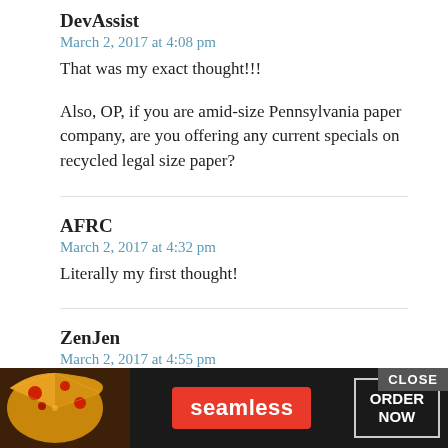DevAssist
March 2, 2017 at 4:08 pm
That was my exact thought!!!
Also, OP, if you are amid-size Pennsylvania paper company, are you offering any current specials on recycled legal size paper?
AFRC
March 2, 2017 at 4:32 pm
Literally my first thought!
ZenJen
March 2, 2017 at 4:55 pm
this was my thought EXACTLY. Michael Scott is only funny when he's fictional!
Rave
[Figure (screenshot): Seamless food delivery advertisement banner with pizza image on left, Seamless logo in red badge center, ORDER NOW button in outlined box on right, and CLOSE button top right corner]